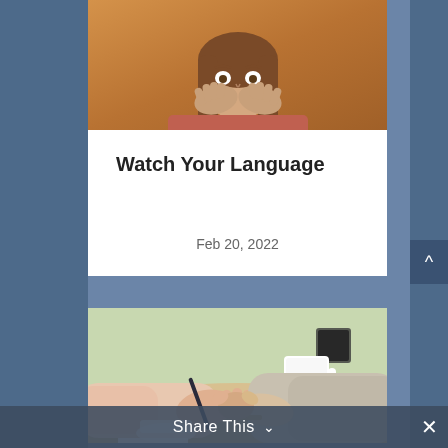[Figure (photo): Woman with hands covering her mouth in surprise or shock, against an orange/brown background]
Watch Your Language
Feb 20, 2022
[Figure (photo): Two people shaking hands across a desk/table with coffee cups and papers visible]
Share This